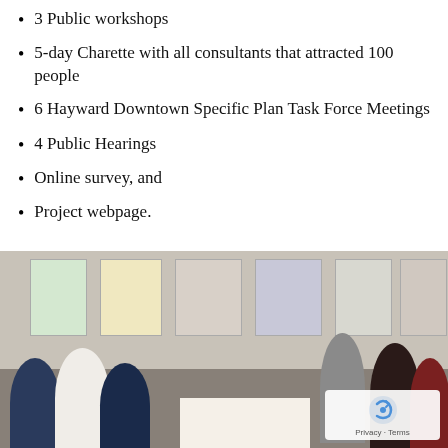3 Public workshops
5-day Charette with all consultants that attracted 100 people
6 Hayward Downtown Specific Plan Task Force Meetings
4 Public Hearings
Online survey, and
Project webpage.
[Figure (photo): Public workshop or charette meeting scene showing attendees seated at tables and standing, with maps and plans posted on the wall behind them. A presenter is speaking near the display boards.]